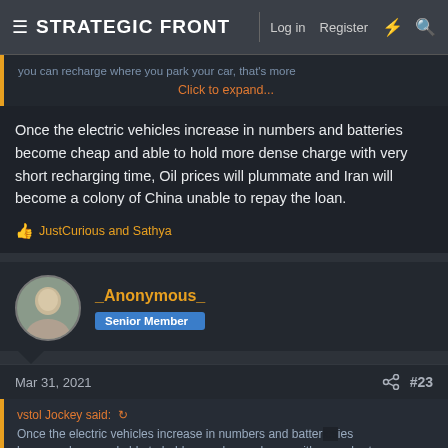STRATEGIC FRONT  Log in  Register
you can recharge where you park your car, that's more
Click to expand...
Once the electric vehicles increase in numbers and batteries become cheap and able to hold more dense charge with very short recharging time, Oil prices will plummate and Iran will become a colony of China unable to repay the loan.
👍 JustCurious and Sathya
_Anonymous_
Senior Member
Mar 31, 2021  #23
vstol Jockey said:
Once the electric vehicles increase in numbers and batteries become cheap and able to hold more dense charge with very short